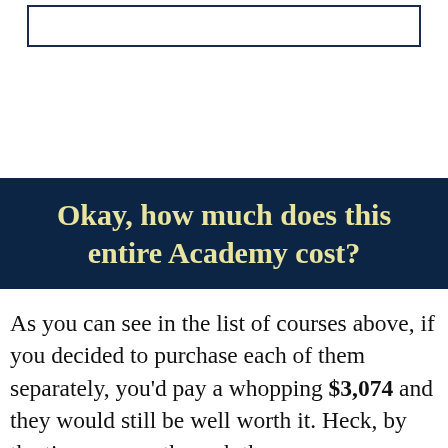[Figure (other): A bordered rectangle box at the top of the page, partially visible, with no visible text inside.]
Okay, how much does this entire Academy cost?
As you can see in the list of courses above, if you decided to purchase each of them separately, you'd pay a whopping $3,074 and they would still be well worth it. Heck, by the time you go through the